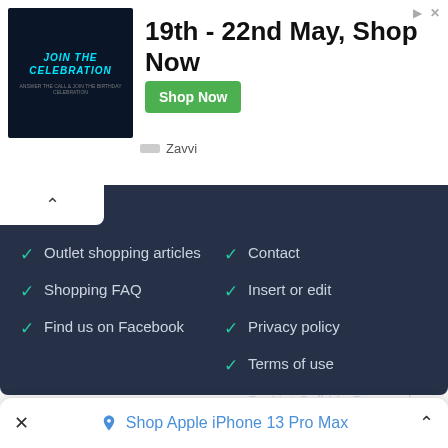[Figure (screenshot): Ad banner with dark image showing 'JOIN THE CELEBRATION' text, headline '19th - 22nd May, Shop Now', green 'Shop Now' button, and Zavvi branding]
Outlet shopping articles
Shopping FAQ
Find us on Facebook
Contact
Insert or edit
Privacy policy
Terms of use
Do Not Sell My Personal Information
2014-2022 © Outlet Stores Malls
All rights reserved.
Shop Apple iPhone 13 Pro Max